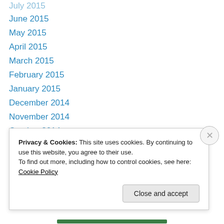July 2015
June 2015
May 2015
April 2015
March 2015
February 2015
January 2015
December 2014
November 2014
October 2014
September 2014
August 2014
July 2014
June 2014
Privacy & Cookies: This site uses cookies. By continuing to use this website, you agree to their use. To find out more, including how to control cookies, see here: Cookie Policy